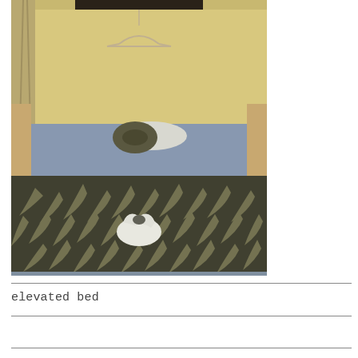[Figure (photo): A small room with a two-level sleeping arrangement. The lower level has a dark tropical leaf-patterned bedspread with a rolled white towel decoration in the center. The upper level/headboard area has a blue/grey mattress with a neck pillow and white pillow. A clothing hanger hangs from a shelf above. The walls are beige/yellow and a curtain is visible on the left side.]
elevated bed